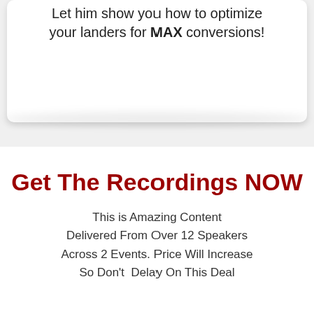Let him show you how to optimize your landers for MAX conversions!
Get The Recordings NOW
This is Amazing Content Delivered From Over 12 Speakers Across 2 Events. Price Will Increase So Don't  Delay On This Deal